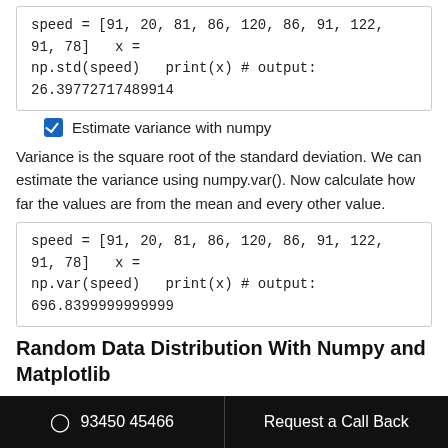speed = [91, 20, 81, 86, 120, 86, 91, 122, 91, 78]   x = np.std(speed)   print(x) # output: 26.39772717489914
Estimate variance with numpy
Variance is the square root of the standard deviation. We can estimate the variance using numpy.var(). Now calculate how far the values are from the mean and every other value.
speed = [91, 20, 81, 86, 120, 86, 91, 122, 91, 78]   x = np.var(speed)   print(x) # output: 696.8399999999999
Random Data Distribution With Numpy and Matplotlib
Let us create 2 arrays with random values and specified mean and variance.
93450 45466   Request a Call Back